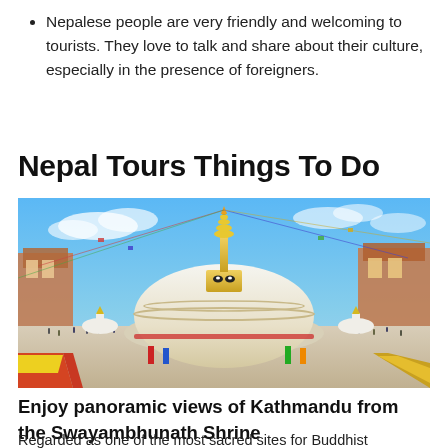Nepalese people are very friendly and welcoming to tourists. They love to talk and share about their culture, especially in the presence of foreigners.
Nepal Tours Things To Do
[Figure (photo): Wide-angle photograph of the Boudhanath Stupa in Kathmandu, Nepal. The large white dome stupa with a golden spire is surrounded by colorful prayer flags, buildings, small stupas, and crowds of people in a bright blue sky setting.]
Enjoy panoramic views of Kathmandu from the Swayambhunath Shrine
Regarded as one of the most sacred sites for Buddhist pilgrimages to Nepal, the Swayambhunath Shrine is a must-see when visiting...